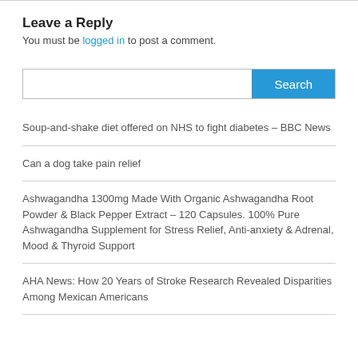Leave a Reply
You must be logged in to post a comment.
Soup-and-shake diet offered on NHS to fight diabetes – BBC News
Can a dog take pain relief
Ashwagandha 1300mg Made With Organic Ashwagandha Root Powder & Black Pepper Extract – 120 Capsules. 100% Pure Ashwagandha Supplement for Stress Relief, Anti-anxiety & Adrenal, Mood & Thyroid Support
AHA News: How 20 Years of Stroke Research Revealed Disparities Among Mexican Americans